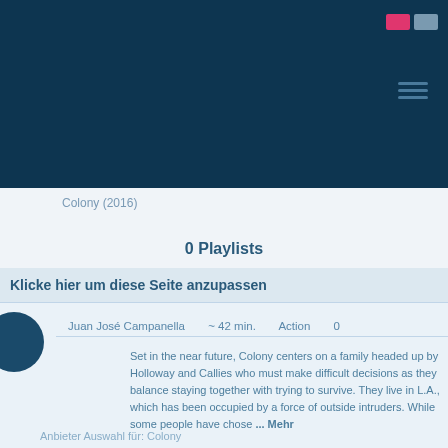[Figure (screenshot): Dark navy blue website header bar with pink and grey control buttons in top right, and a hamburger menu icon]
Colony (2016)
0 Playlists
Klicke hier um diese Seite anzupassen
Juan José Campanella   ~ 42 min.   Action   0
Set in the near future, Colony centers on a family headed up by Holloway and Callies who must make difficult decisions as they balance staying together with trying to survive. They live in L.A., which has been occupied by a force of outside intruders. While some people have chose ... Mehr
Anbieter Auswahl für: Colony